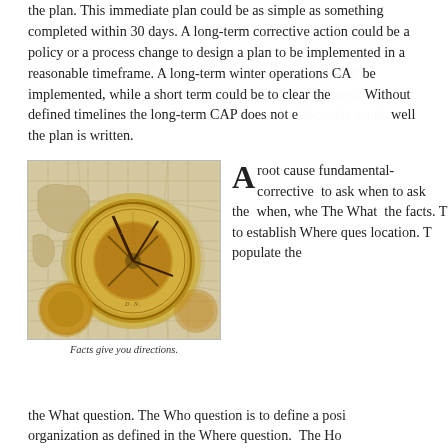the plan. The immediate plan could be as simple as something completed within 30 days. A long-term corrective action could be a policy or a process change to design a plan to be implemented in a reasonable timeframe. A long-term winter operations CAP could be implemented, while a short term could be to clear the area. Without defined timelines the long-term CAP does not e... well the plan is written.
[Figure (photo): A brass compass resting on an old world map with geographic grid lines and landmass illustrations.]
Facts give you directions.
A root cau... fundamental... corrective... to ask whe... to ask the... when, whe... The What... the facts. T... to establis... Where que... location. T... populate th...
the What question. The Who question is to define a posi... organization as defined in the Where question. The Ho...